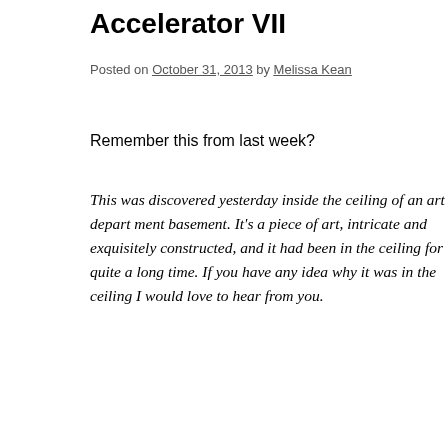Accelerator VII
Posted on October 31, 2013 by Melissa Kean
Remember this from last week?
This was discovered yesterday inside the ceiling of an art department basement. It’s a piece of art, intricate and exquisitely constructed, and it had been in the ceiling for quite a long time. If you have any idea why it was in the ceiling I would love to hear from you.
[Figure (photo): A metallic disc-shaped scientific apparatus resembling a particle accelerator component, displayed on a table in what appears to be an art department room. A wooden chair and filing cabinets are visible in the background.]